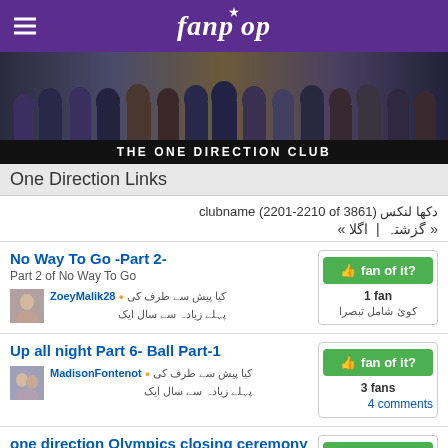fanpop
[Figure (photo): Band photo of multiple young men (One Direction members) posed together against a dark background]
THE ONE DIRECTION CLUB
One Direction Links
دکھا لنکس clubname (2201-2210 of 3861)
« گزشتہ | اگلا »
No Way To Go -Part 2-
Part 2 of No Way To Go
کیا پیش سے طرف کی ● ZoeyMalik28
پہلے زیادہ سے سال ایک
1 fan
کوئ شامل تبصرا
Up all night Part 6- Ball Part-1
کیا پیش سے طرف کی ● MadisonFontenot
پہلے زیادہ سے سال ایک
3 fans
4 comments
one direction Olympics closing ceremony video
4 fans